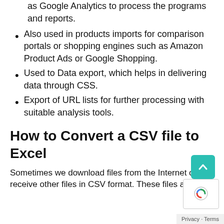as Google Analytics to process the programs and reports.
Also used in products imports for comparison portals or shopping engines such as Amazon Product Ads or Google Shopping.
Used to Data export, which helps in delivering data through CSS.
Export of URL lists for further processing with suitable analysis tools.
How to Convert a CSV file to Excel
Sometimes we download files from the Internet or receive other files in CSV format. These files are data...